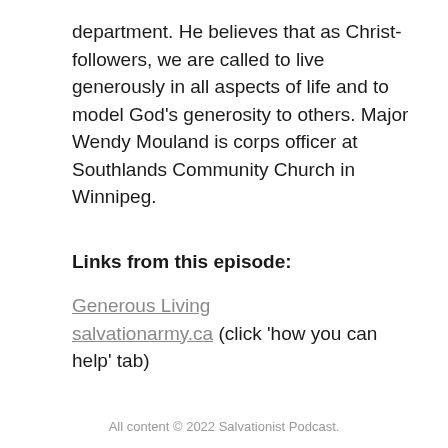department. He believes that as Christ-followers, we are called to live generously in all aspects of life and to model God's generosity to others. Major Wendy Mouland is corps officer at Southlands Community Church in Winnipeg.
Links from this episode:
Generous Living salvationarmy.ca (click 'how you can help' tab)
All content © 2022 Salvationist Podcast.